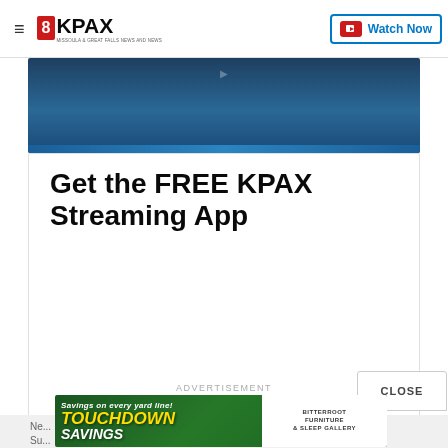8KPAX — Watch Now
[Figure (screenshot): Video thumbnail or banner image with dark blue gradient background]
Get the FREE KPAX Streaming App
[Figure (photo): Advertisement banner: TOUCHDOWN SAVINGS — Savings on every yard line! Bitterroot furniture and Sleep Gallery]
ADVERTISEMENT
CLOSE